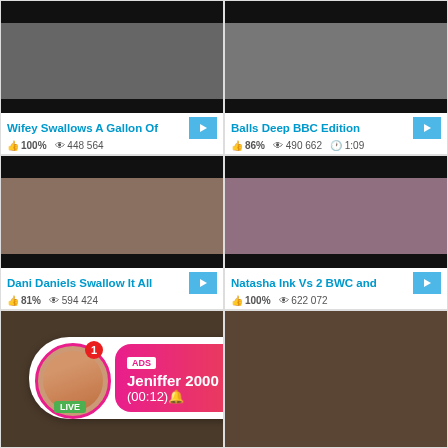[Figure (screenshot): Video thumbnail top-left: Wifey Swallows A Gallon Of - dark bar top, image in middle, dark bar bottom]
Wifey Swallows A Gallon Of
👍 100%   👁 448 564
[Figure (screenshot): Video thumbnail top-right: Balls Deep BBC Edition]
Balls Deep BBC Edition
👍 86%   👁 490 662   🕐 1:09
[Figure (photo): Video thumbnail middle-left: Dani Daniels Swallow It All - explicit adult content image]
Dani Daniels Swallow It All
👍 81%   👁 594 424
[Figure (photo): Video thumbnail middle-right: Natasha Ink Vs 2 BWC and - explicit adult content image, ANALVIDS.COM watermark]
Natasha Ink Vs 2 BWC and
👍 100%   👁 622 072
[Figure (photo): Video thumbnail bottom-left partial - explicit adult content, ad overlay with Jeniffer 2000 LIVE chat notification]
[Figure (photo): Video thumbnail bottom-right partial - explicit adult content]
ADS Jeniffer 2000 (00:12)🔔